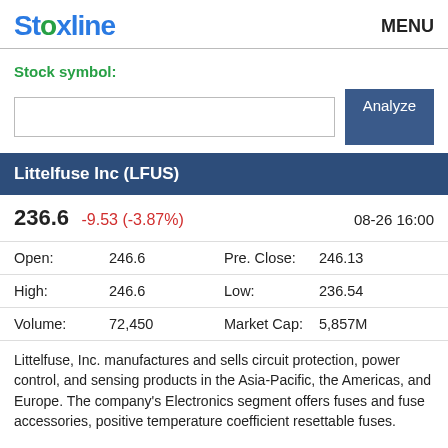Stoxline   MENU
Stock symbol:
Littelfuse Inc (LFUS)
| 236.6 | -9.53 (-3.87%) |  | 08-26 16:00 |
| Open: | 246.6 | Pre. Close: | 246.13 |
| High: | 246.6 | Low: | 236.54 |
| Volume: | 72,450 | Market Cap: | 5,857M |
Littelfuse, Inc. manufactures and sells circuit protection, power control, and sensing products in the Asia-Pacific, the Americas, and Europe. The company's Electronics segment offers fuses and fuse accessories, positive temperature coefficient resettable fuses.